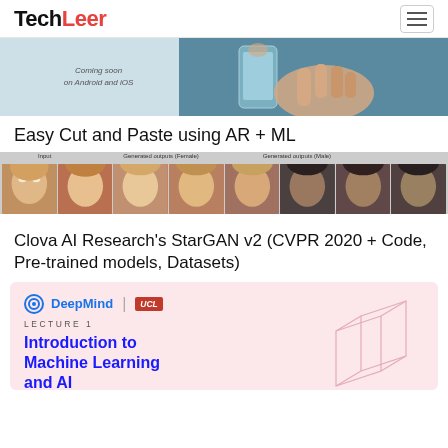TechLeer
[Figure (photo): Banner image with text 'Coming soon on Android and iOS' on the left and a hand holding a phone on the right]
Easy Cut and Paste using AR + ML
[Figure (photo): Grid of face images showing Input, Generated outputs (Female), and Generated outputs (Male) columns]
Clova AI Research's StarGAN v2 (CVPR 2020 + Code, Pre-trained models, Datasets)
[Figure (illustration): DeepMind | UCL branded card with LECTURE 1 header and title 'Introduction to Machine Learning and AI' on pink background with geometric cube wireframe]